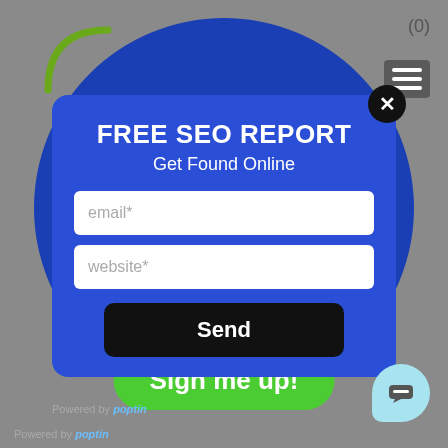[Figure (screenshot): A screenshot of a website popup for a Free SEO Report. The page background is gray. A large dark blue circle occupies the center. A modal popup card with a blue background sits in the middle, showing a title 'FREE SEO REPORT', subtitle 'Get Found Online', two input fields for email* and website*, and a Send button. Below the modal are partial text '24 hours.' and a green 'Sign me up!' button. A close X button is at the top-right of the modal. A hamburger menu icon and (0) counter are at the top right of the page. A small light-blue chat bubble is at the bottom right. 'Powered by poptin' appears twice.]